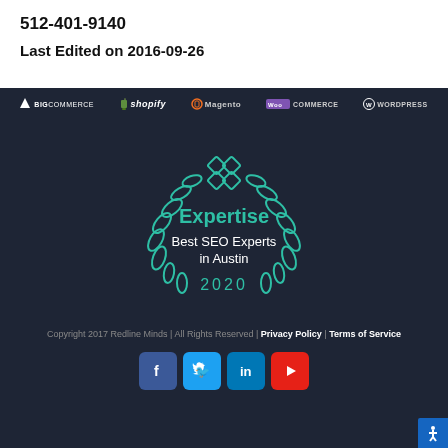512-401-9140
Last Edited on 2016-09-26
[Figure (logo): Row of platform logos: BigCommerce, Shopify, Magento, WooCommerce, WordPress on dark background]
[Figure (illustration): Expertise badge - Best SEO Experts in Austin 2020, teal laurel wreath and diamond logo]
Copyright 2017 Redline Minds | All Rights Reserved | Privacy Policy | Terms of Service
[Figure (infographic): Social media icons: Facebook, Twitter, LinkedIn, YouTube]